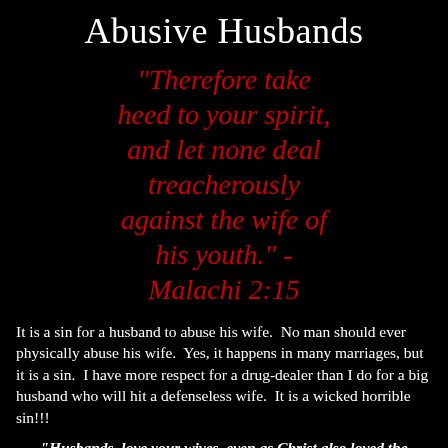Abusive Husbands
"Therefore take heed to your spirit, and let none deal treacherously against the wife of his youth." - Malachi 2:15
It is a sin for a husband to abuse his wife.  No man should ever physically abuse his wife.  Yes, it happens in many marriages, but it is a sin.  I have more respect for a drug-dealer than I do for a big husband who will hit a defenseless wife.  It is a wicked horrible sin!!!
"Husbands, love your wives, even as Christ also loved the church, and gave himself for it;" -Ephesians 5:25